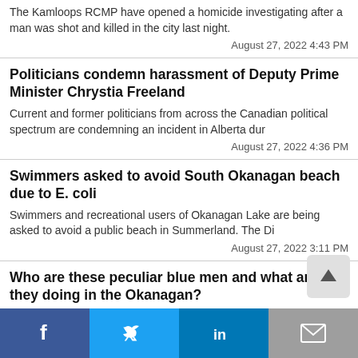The Kamloops RCMP have opened a homicide investigating after a man was shot and killed in the city last night.
August 27, 2022 4:43 PM
Politicians condemn harassment of Deputy Prime Minister Chrystia Freeland
Current and former politicians from across the Canadian political spectrum are condemning an incident in Alberta dur
August 27, 2022 4:36 PM
Swimmers asked to avoid South Okanagan beach due to E. coli
Swimmers and recreational users of Okanagan Lake are being asked to avoid a public beach in Summerland. The Di
August 27, 2022 3:11 PM
Who are these peculiar blue men and what are they doing in the Okanagan?
Look to the rivers and streams around the North Okanagan and you may notice a group of paper-mache masked blue men s
August 27, 2022 2:29 PM